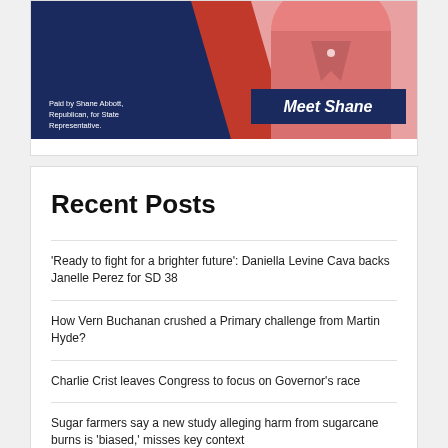[Figure (photo): Political advertisement for Shane Abbott, Republican for State Representative, showing a person in a pink/red shirt with 'Meet Shane' text on a navy blue banner. Text reads 'Paid by Shane Abbott, Republican, for State Representative.']
Recent Posts
'Ready to fight for a brighter future': Daniella Levine Cava backs Janelle Perez for SD 38
How Vern Buchanan crushed a Primary challenge from Martin Hyde?
Charlie Crist leaves Congress to focus on Governor's race
Sugar farmers say a new study alleging harm from sugarcane burns is 'biased,' misses key context
Washington law firm probing Senate Democrats' links to congressional redistricting lawsuit